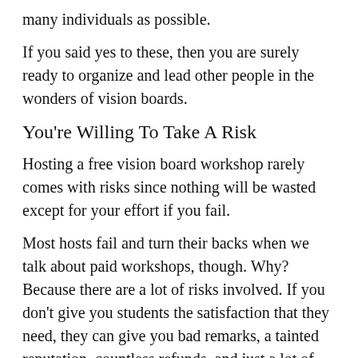many individuals as possible.
If you said yes to these, then you are surely ready to organize and lead other people in the wonders of vision boards.
You're Willing To Take A Risk
Hosting a free vision board workshop rarely comes with risks since nothing will be wasted except for your effort if you fail.
Most hosts fail and turn their backs when we talk about paid workshops, though. Why? Because there are a lot of risks involved. If you don't give you students the satisfaction that they need, they can give you bad remarks, a tainted reputation, countless refunds, and just a lot of hassle in general.